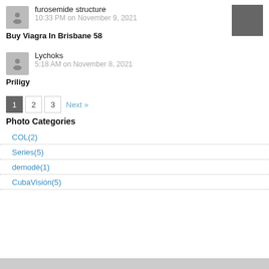furosemide structure
10:33 PM on November 9, 2021
Buy Viagra In Brisbane 58
Lychoks
5:18 AM on November 8, 2021
Priligy
1  2  3  Next »
Photo Categories
COL(2)
Series(5)
demodè(1)
CubaVisión(5)